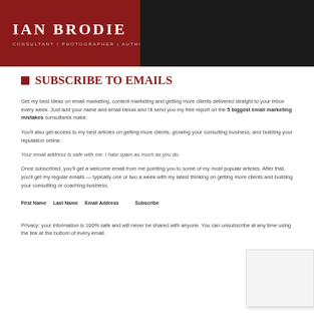IAN BRODIE | CONSULTANT | PHOTOGRAPHER | AUTHOR
SUBSCRIBE TO EMAILS
Body text paragraph 1 - email subscription content
Body text paragraph 2 - email subscription content
Body text paragraph 3 - email subscription content
Body text paragraph 4 - email subscription content
Links and navigation text
[Figure (other): Sidebar box / widget element in lower right corner]